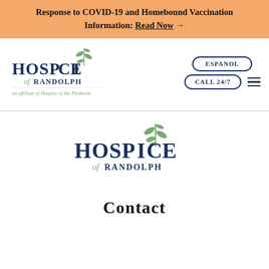Response to COVID-19 and Homebound Vaccination Information: Read Now →
[Figure (logo): Hospice of Randolph logo (small, top-left navigation) — an affiliate of Hospice of the Piedmont]
[Figure (logo): ESPANOL button (rounded border)]
[Figure (logo): CALL 24/7 button (rounded border) and hamburger menu icon]
[Figure (logo): Hospice of Randolph logo (large, centered in lower section)]
Contact